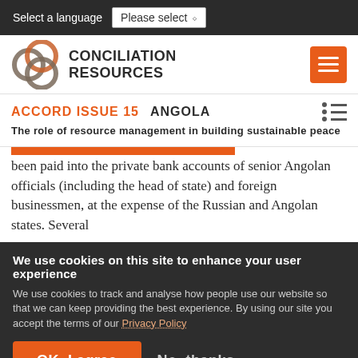Select a language  Please select
[Figure (logo): Conciliation Resources logo with interlocking circles and organization name]
ACCORD ISSUE 15  Angola
The role of resource management in building sustainable peace
been paid into the private bank accounts of senior Angolan officials (including the head of state) and foreign businessmen, at the expense of the Russian and Angolan states. Several
We use cookies on this site to enhance your user experience
We use cookies to track and analyse how people use our website so that we can keep providing the best experience. By using our site you accept the terms of our Privacy Policy
OK, I agree
No, thanks